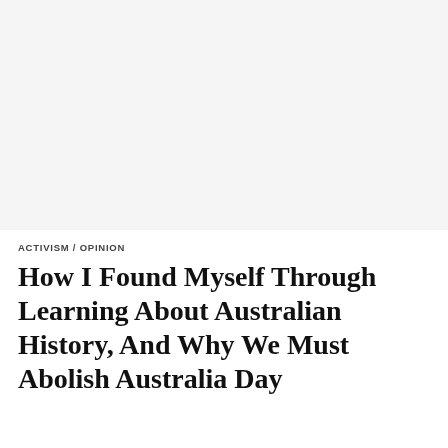≡  f  ⊙  🔍
ACTIVISM / OPINION
How I Found Myself Through Learning About Australian History, And Why We Must Abolish Australia Day